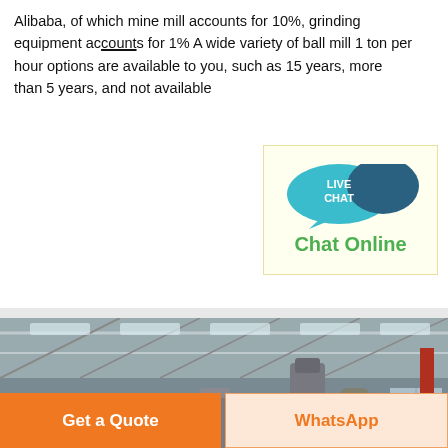Alibaba, of which mine mill accounts for 10%, grinding equipment accounts for 1% A wide variety of ball mill 1 ton per hour options are available to you, such as 15 years, more than 5 years, and not available
[Figure (other): Live Chat widget with teal speech bubble icon and 'LIVE CHAT' text, showing 'Chat Online' in green on a light yellow background]
[Figure (photo): Interior of an industrial factory hall with grinding/milling machinery, metal structures, conveyor systems, and bagged materials on the floor]